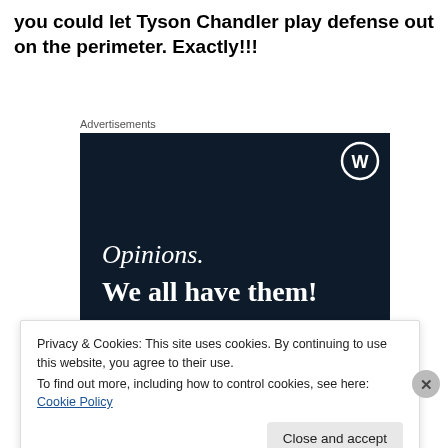you could let Tyson Chandler play defense out on the perimeter. Exactly!!!
Advertisements
[Figure (illustration): WordPress.com advertisement banner with dark navy background, WordPress logo (W in circle) top right, italic text 'Opinions.' and bold text 'We all have them!' in white, a pink button bar at the bottom left and a grey circle bottom right.]
Privacy & Cookies: This site uses cookies. By continuing to use this website, you agree to their use.
To find out more, including how to control cookies, see here: Cookie Policy
Close and accept